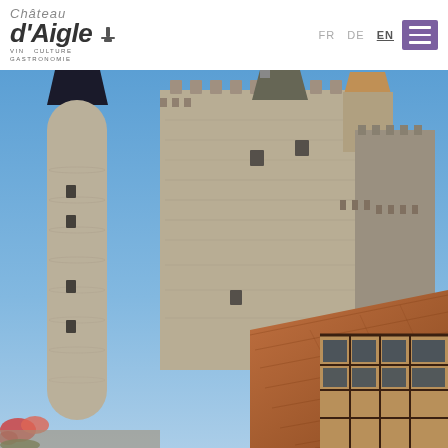Château d'Aigle — VIN CULTURE GASTRONOMIE — navigation header with language switcher (FR DE EN) and hamburger menu
[Figure (photo): Exterior photograph of the Château d'Aigle, showing medieval stone towers with conical roofs, rough-cut stone masonry walls, small narrow windows, and a timber-framed building section with tiled roof on the right, under a clear blue sky. Flowers visible at the lower left.]